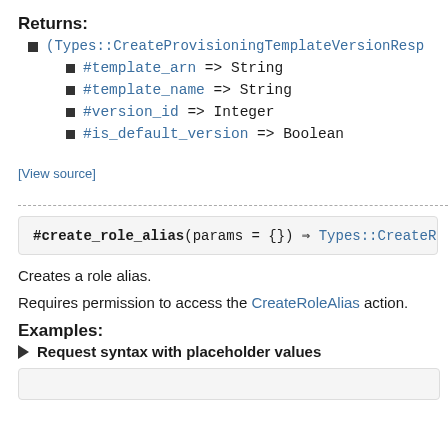Returns:
(Types::CreateProvisioningTemplateVersionResp
#template_arn => String
#template_name => String
#version_id => Integer
#is_default_version => Boolean
[View source]
#create_role_alias(params = {}) ⇒ Types::CreateRo
Creates a role alias.
Requires permission to access the CreateRoleAlias action.
Examples:
► Request syntax with placeholder values